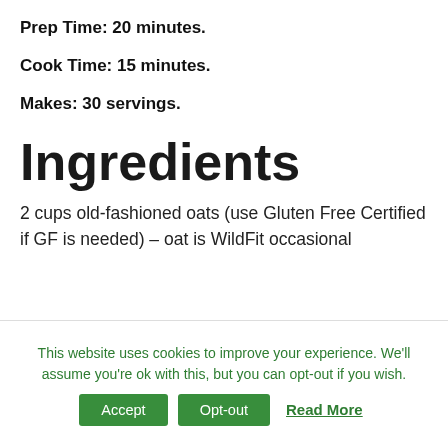Prep Time: 20 minutes.
Cook Time: 15 minutes.
Makes: 30 servings.
Ingredients
2 cups old-fashioned oats (use Gluten Free Certified if GF is needed) – oat is WildFit occasional
This website uses cookies to improve your experience. We'll assume you're ok with this, but you can opt-out if you wish. Accept Opt-out Read More